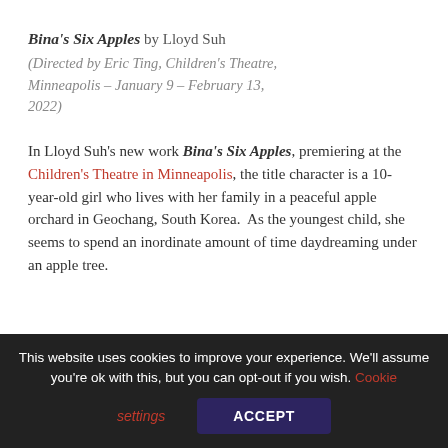Bina's Six Apples by Lloyd Suh (Directed by Eric Ting, Children's Theatre, Minneapolis – January 9 – February 13, 2022)
In Lloyd Suh's new work Bina's Six Apples, premiering at the Children's Theatre in Minneapolis, the title character is a 10-year-old girl who lives with her family in a peaceful apple orchard in Geochang, South Korea.  As the youngest child, she seems to spend an inordinate amount of time daydreaming under an apple tree.
This website uses cookies to improve your experience. We'll assume you're ok with this, but you can opt-out if you wish. Cookie settings ACCEPT